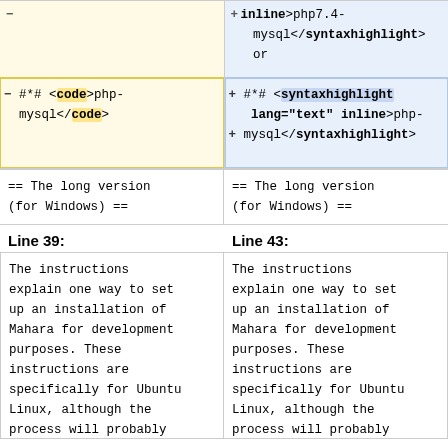inline>php7.4-mysql</syntaxhighlight> or
#*# <code>php-mysql</code>
#*# <syntaxhighlight lang="text" inline>php-mysql</syntaxhighlight>
== The long version (for Windows) ==
== The long version (for Windows) ==
Line 39:
Line 43:
The instructions explain one way to set up an installation of Mahara for development purposes. These instructions are specifically for Ubuntu Linux, although the process will probably
The instructions explain one way to set up an installation of Mahara for development purposes. These instructions are specifically for Ubuntu Linux, although the process will probably